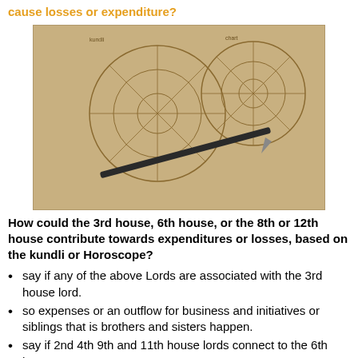cause losses or expenditure?
[Figure (photo): Astrological kundli/horoscope charts on paper with a pen lying across them]
How could the 3rd house, 6th house, or the 8th or 12th house contribute towards expenditures or losses, based on the kundli or Horoscope?
say if any of the above Lords are associated with the 3rd house lord.
so expenses or an outflow for business and initiatives or siblings that is brothers and sisters happen.
say if 2nd 4th 9th and 11th house lords connect to the 6th house.
then naturally expenditure on litigation or legal matters or also health matters could be there.
God forbid if 2nd 4th 9th and 11th house connect to the 8th house then outflows on accident happens. that contributes to the expenditure.
[Figure (photo): Person in hard hat at a construction or industrial site with a tram or vehicle in background]